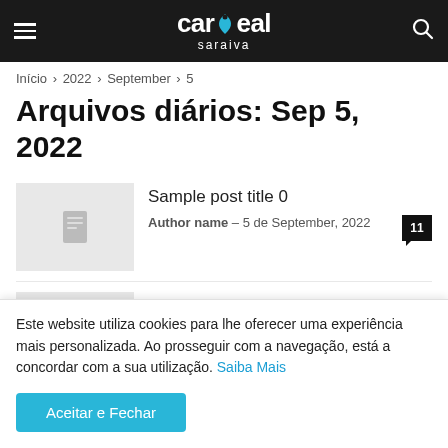cardeal saraiva — navigation header
Início › 2022 › September › 5
Arquivos diários: Sep 5, 2022
Sample post title 0
Author name - 5 de September, 2022
[11 comments]
Sample post title 1
Author name - 5 de September, 2022
[11 comments]
Este website utiliza cookies para lhe oferecer uma experiência mais personalizada. Ao prosseguir com a navegação, está a concordar com a sua utilização. Saiba Mais
[Aceitar e Fechar]